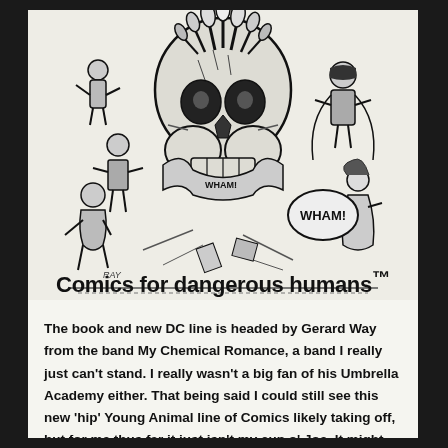[Figure (illustration): Black and white comic book style illustration featuring a large skull in the center with action figures, heroes and characters around it. Text 'WHAM!' visible. Artist signature 'RAY' at bottom left.]
Comics for dangerous humans™
The book and new DC line is headed by Gerard Way from the band My Chemical Romance, a band I really just can't stand. I really wasn't a big fan of his Umbrella Academy either. That being said I could still see this new 'hip' Young Animal line of Comics likely taking off, but for me thus far it just isn't my cup o' Joe. It might all click later down the line – Sometimes it's hard to get